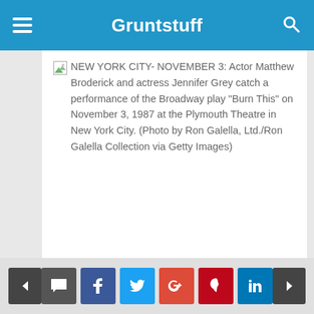Gruntstuff
[Figure (photo): Broken image placeholder icon for a photo of Actor Matthew Broderick and actress Jennifer Grey]
NEW YORK CITY- NOVEMBER 3: Actor Matthew Broderick and actress Jennifer Grey catch a performance of the Broadway play "Burn This" on November 3, 1987 at the Plymouth Theatre in New York City. (Photo by Ron Galella, Ltd./Ron Galella Collection via Getty Images)
Navigation and social share buttons